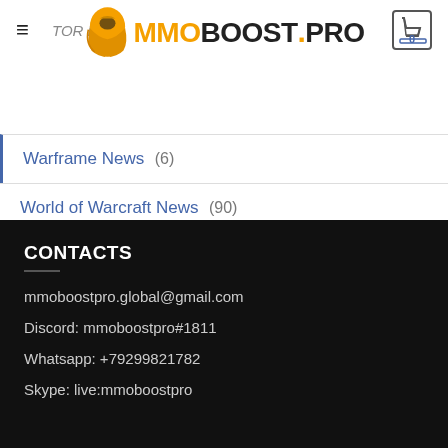TOR News | MMOBOOST.PRO
Warframe News (6)
World of Warcraft News (90)
CONTACTS
mmoboostpro.global@gmail.com
Discord: mmoboostpro#1811
Whatsapp: +79299821782
Skype: live:mmoboostpro